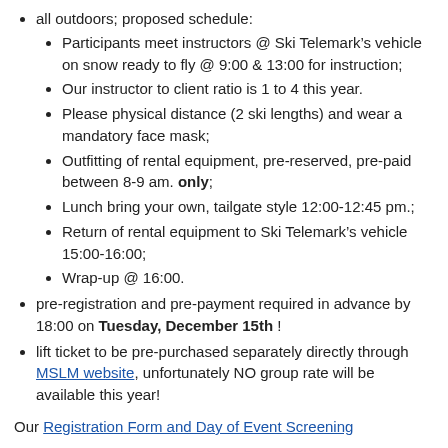all outdoors; proposed schedule:
Participants meet instructors @ Ski Telemark’s vehicle on snow ready to fly @ 9:00 & 13:00 for instruction;
Our instructor to client ratio is 1 to 4 this year.
Please physical distance (2 ski lengths) and wear a mandatory face mask;
Outfitting of rental equipment, pre-reserved, pre-paid between 8-9 am. only;
Lunch bring your own, tailgate style 12:00-12:45 pm.;
Return of rental equipment to Ski Telemark’s vehicle 15:00-16:00;
Wrap-up @ 16:00.
pre-registration and pre-payment required in advance by 18:00 on Tuesday, December 15th !
lift ticket to be pre-purchased separately directly through MSLM website, unfortunately NO group rate will be available this year!
Our Registration Form and Day of Event Screening